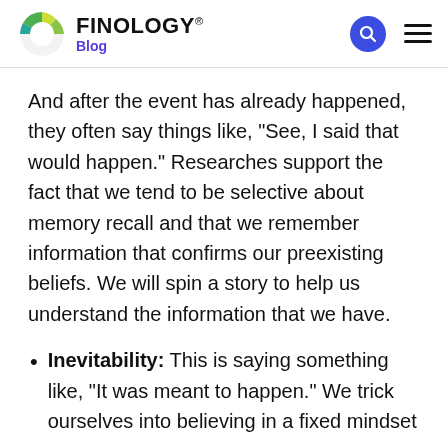FINOLOGY® Blog
And after the event has already happened, they often say things like, "See, I said that would happen." Researches support the fact that we tend to be selective about memory recall and that we remember information that confirms our preexisting beliefs. We will spin a story to help us understand the information that we have.
Inevitability: This is saying something like, "It was meant to happen." We trick ourselves into believing in a fixed mindset